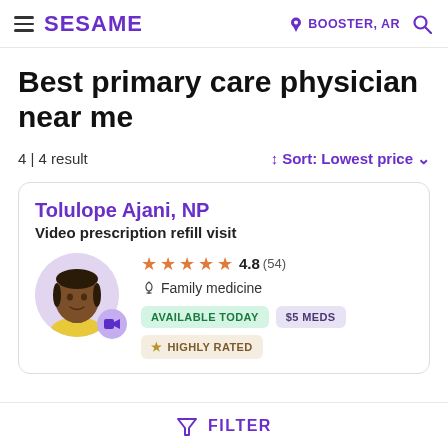SESAME  BOOSTER, AR
Best primary care physician near me
4 | 4 result
Sort: Lowest price
Tolulope Ajani, NP
Video prescription refill visit
★★★★★ 4.8 (54)
Family medicine
AVAILABLE TODAY  $5 MEDS
★ HIGHLY RATED
FILTER